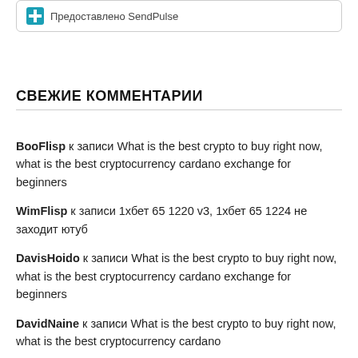[Figure (logo): SendPulse logo icon (teal/blue cross symbol) with text 'Предоставлено SendPulse']
СВЕЖИЕ КОММЕНТАРИИ
BooFlisp к записи What is the best crypto to buy right now, what is the best cryptocurrency cardano exchange for beginners
WimFlisp к записи 1хбет 65 1220 v3, 1хбет 65 1224 не заходит ютуб
DavisHoido к записи What is the best crypto to buy right now, what is the best cryptocurrency cardano exchange for beginners
DavidNaine к записи What is the best crypto to buy right now, what is the best cryptocurrency cardano